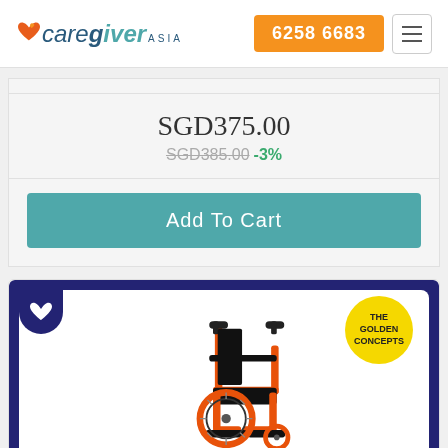CareGiver Asia | 6258 6683
SGD375.00
SGD385.00 -3%
Add To Cart
[Figure (photo): Orange and black wheelchair on white background inside a dark navy blue bordered card, with a white heart icon badge in the top-left corner and a yellow circular 'The Golden Concepts' logo badge in the top-right corner.]